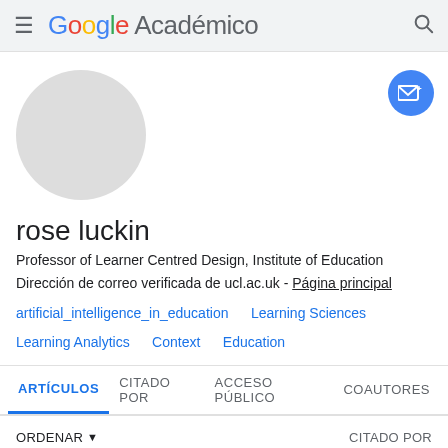Google Académico
[Figure (illustration): Circular grey avatar placeholder for profile photo]
rose luckin
Professor of Learner Centred Design, Institute of Education
Dirección de correo verificada de ucl.ac.uk - Página principal
artificial_intelligence_in_education
Learning Sciences
Learning Analytics
Context
Education
ARTÍCULOS   CITADO POR   ACCESO PÚBLICO   COAUTORES
ORDENAR ▼   CITADO POR